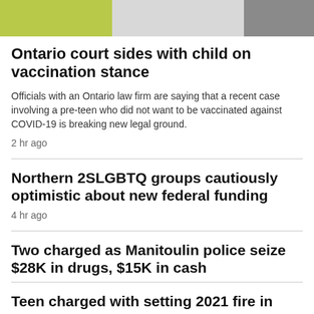[Figure (photo): Top of page showing partial photo strip with yellow-green on left and grey/person on right]
Ontario court sides with child on vaccination stance
Officials with an Ontario law firm are saying that a recent case involving a pre-teen who did not want to be vaccinated against COVID-19 is breaking new legal ground.
2 hr ago
Northern 2SLGBTQ groups cautiously optimistic about new federal funding
4 hr ago
Two charged as Manitoulin police seize $28K in drugs, $15K in cash
Teen charged with setting 2021 fire in Elliot Lake